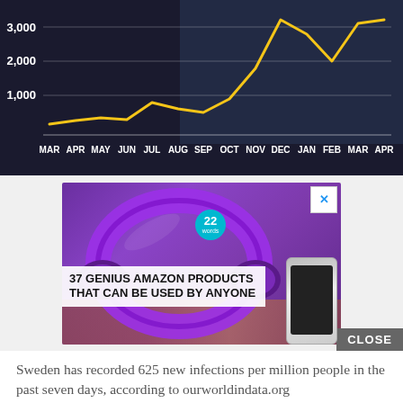[Figure (line-chart): COVID-19 new infections over time]
[Figure (screenshot): Advertisement: 37 Genius Amazon Products That Can Be Used By Anyone, with purple headphones photo and a close button]
Sweden has recorded 625 new infections per million people in the past seven days, according to ourworldindata.org